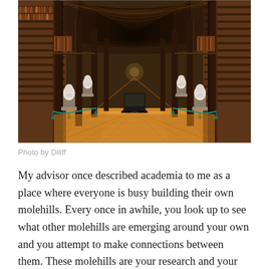[Figure (photo): Interior of a grand historic library hall with long rows of tall wooden bookshelves lining both sides, arched ceiling, golden polished wooden floor, marble busts on pedestals, and display cases in the center aisle receding into the distance.]
Photo by Diliff
My advisor once described academia to me as a place where everyone is busy building their own molehills. Every once in awhile, you look up to see what other molehills are emerging around your own and you attempt to make connections between them. These molehills are your research and your expertise, and it takes time (there's that